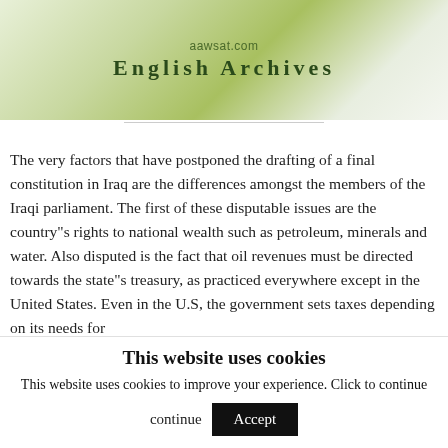[Figure (logo): aawsat.com English Archives banner with green gradient background]
The very factors that have postponed the drafting of a final constitution in Iraq are the differences amongst the members of the Iraqi parliament. The first of these disputable issues are the country"s rights to national wealth such as petroleum, minerals and water. Also disputed is the fact that oil revenues must be directed towards the state"s treasury, as practiced everywhere except in the United States. Even in the U.S, the government sets taxes depending on its needs for
This website uses cookies
This website uses cookies to improve your experience. Click to continue
Accept